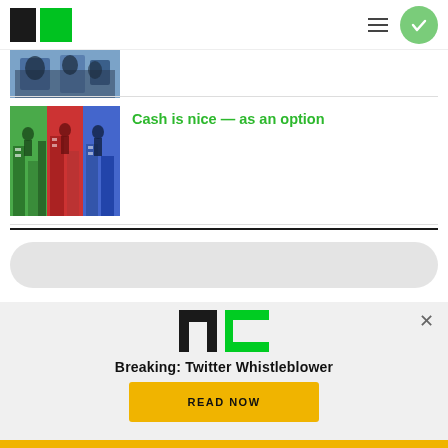TechCrunch
[Figure (photo): Partial thumbnail of an article image showing people/crowd in blue tones]
[Figure (illustration): Colorful illustrated city scene with green, red and blue sections]
Cash is nice — as an option
[Figure (other): Search bar / input field in light grey]
[Figure (logo): TechCrunch TC logo in green]
Breaking: Twitter Whistleblower
[Figure (other): READ NOW button in yellow/gold color]